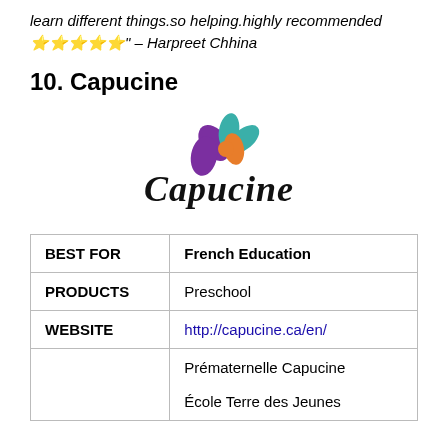learn different things.so helping.highly recommended ⭐⭐⭐⭐⭐" – Harpreet Chhina
10. Capucine
[Figure (logo): Capucine logo with colorful flower petals (purple, teal, orange) and stylized italic text 'Capucine']
|  |  |
| --- | --- |
| BEST FOR | French Education |
| PRODUCTS | Preschool |
| WEBSITE | http://capucine.ca/en/ |
|  | Prématernelle Capucine
École Terre des Jeunes |